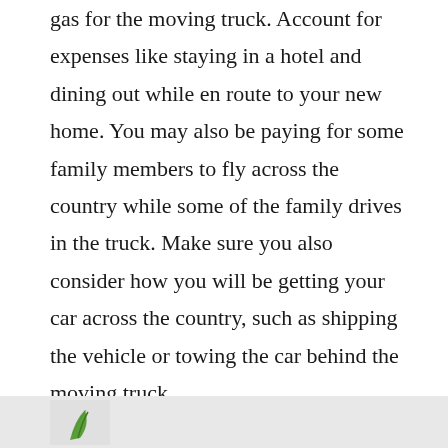gas for the moving truck. Account for expenses like staying in a hotel and dining out while en route to your new home. You may also be paying for some family members to fly across the country while some of the family drives in the truck. Make sure you also consider how you will be getting your car across the country, such as shipping the vehicle or towing the car behind the moving truck.
[Figure (photo): Bottom strip showing partial image with green plant/leaf visible on a light gray background]